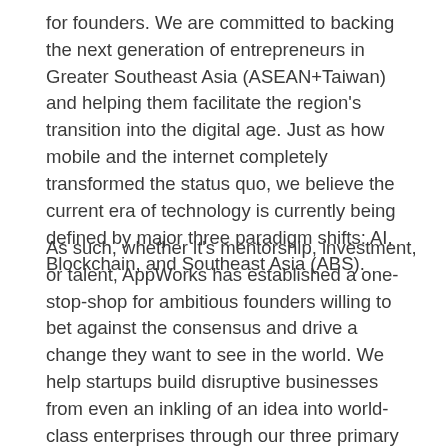for founders. We are committed to backing the next generation of entrepreneurs in Greater Southeast Asia (ASEAN+Taiwan) and helping them facilitate the region's transition into the digital age. Just as how mobile and the internet completely transformed the status quo, we believe the current era of technology is currently being defined by major three paradigm shifts: AI, Blockchain, and Southeast Asia (ABS).
As such, whether it's mentorship, investment, or talent, AppWorks has established a one-stop-shop for ambitious founders willing to bet against the consensus and drive a change they want to see in the world. We help startups build disruptive businesses from even an inkling of an idea into world-class enterprises through our three primary lines of service: Accelerator, Funds, and School.